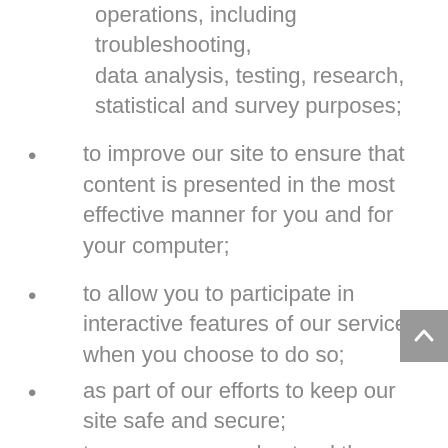operations, including troubleshooting, data analysis, testing, research, statistical and survey purposes;
to improve our site to ensure that content is presented in the most effective manner for you and for your computer;
to allow you to participate in interactive features of our service when you choose to do so;
as part of our efforts to keep our site safe and secure;
to measure or understand the effectiveness of advertising we serve to you and others, and to deliver relevant advertising to you;